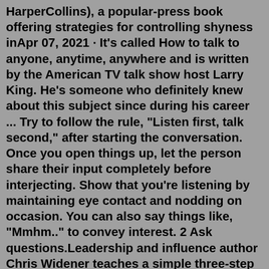HarperCollins), a popular-press book offering strategies for controlling shyness inApr 07, 2021 · It's called How to talk to anyone, anytime, anywhere and is written by the American TV talk show host Larry King. He's someone who definitely knew about this subject since during his career ... Try to follow the rule, "Listen first, talk second," after starting the conversation. Once you open things up, let the person share their input completely before interjecting. Show that you're listening by maintaining eye contact and nodding on occasion. You can also say things like, "Mmhm.." to convey interest. 2 Ask questions.Leadership and influence author Chris Widener teaches a simple three-step process to make sure you're always prepared to talk to anybody, anytime and anywhere. Have you ever felt like you don't know what to say in a social situation? Is small talk not your thing?Talkatone free calls and texts app is used to send and receive calls and texts over a data connection. This app uses your device's internet